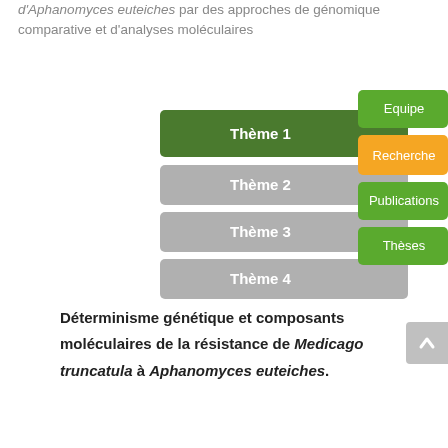d'Aphanomyces euteiches par des approches de génomique comparative et d'analyses moléculaires
[Figure (infographic): Navigation menu interface showing Thème 1 (active, dark green), Thème 2, Thème 3, Thème 4 (grey tabs) on the left, and Equipe, Recherche (orange, active), Publications, Thèses (green tabs) on the right.]
Déterminisme génétique et composants moléculaires de la résistance de Medicago truncatula à Aphanomyces euteiches.